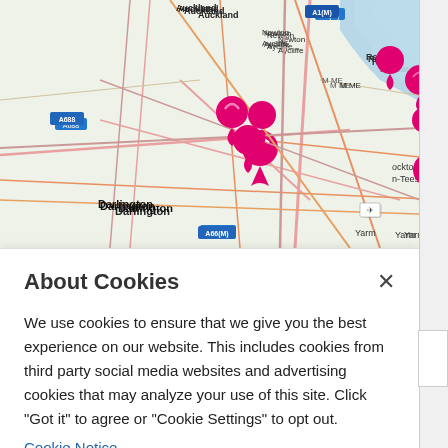[Figure (map): Street map showing the Teesside/Darlington area of northeast England with pink location pin markers at various points. Map shows towns including Auckland, Newton Aycliffe, Darlington, Redcar, Guisborough, Stockton-on-Tees, Middlesbrough and surrounding areas. Multiple pink heart/teardrop shaped location markers are clustered in the central area.]
About Cookies
We use cookies to ensure that we give you the best experience on our website. This includes cookies from third party social media websites and advertising cookies that may analyze your use of this site. Click "Got it" to agree or "Cookie Settings" to opt out.
Cookie Notice
Got It
Cookies Settings